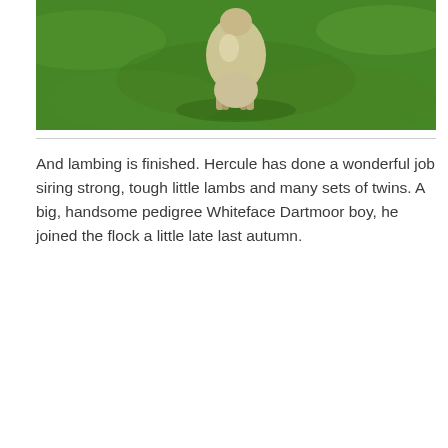[Figure (photo): A sheep (lamb) running on a bright green grassy field, viewed from above/behind.]
And lambing is finished. Hercule has done a wonderful job siring strong, tough little lambs and many sets of twins. A big, handsome pedigree Whiteface Dartmoor boy, he joined the flock a little late last autumn.